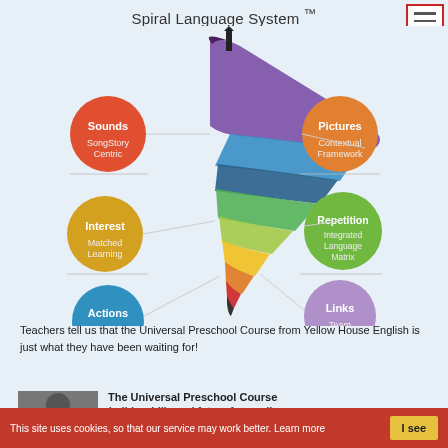Spiral Language System ™
[Figure (infographic): Spiral Language System infographic showing a colorful tornado/spiral shape in the center. Six circles surround it: left side top-to-bottom: 'Sounds / SongStory Centric' (orange/red), 'Interest / Matched Learning' (yellow/orange), 'Actions / Memory Path' (blue). Right side top-to-bottom: 'Pictures / Contextual Framework' (orange), 'Repetition / Integrated Language Matrix' (green), 'Links / Team' (purple/lavender). The spiral has a dark arrow at the top pointing upward and is made of rainbow-colored ribbon bands.]
Teachers tell us that the Universal Preschool Course from Yellow House English is just what they have been waiting for!
[Figure (photo): Photo of a person (partially visible, dark hair)]
The Universal Preschool Course builds a bilingual future for pupils
This site uses cookies, so that our service may work better. Learn more